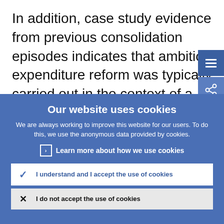In addition, case study evidence from previous consolidation episodes indicates that ambitious expenditure reform was typically carried out in the context of a broader economic reform programmes,
[Figure (screenshot): Cookie consent overlay banner with blue background. Contains title 'Our website uses cookies', body text, a 'Learn more about how we use cookies' link, and two buttons: 'I understand and I accept the use of cookies' and 'I do not accept the use of cookies'.]